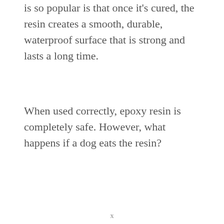is so popular is that once it's cured, the resin creates a smooth, durable, waterproof surface that is strong and lasts a long time.
When used correctly, epoxy resin is completely safe. However, what happens if a dog eats the resin?
x